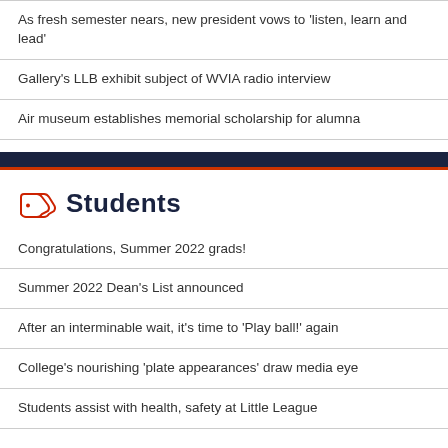As fresh semester nears, new president vows to 'listen, learn and lead'
Gallery's LLB exhibit subject of WVIA radio interview
Air museum establishes memorial scholarship for alumna
Students
Congratulations, Summer 2022 grads!
Summer 2022 Dean's List announced
After an interminable wait, it's time to 'Play ball!' again
College's nourishing 'plate appearances' draw media eye
Students assist with health, safety at Little League